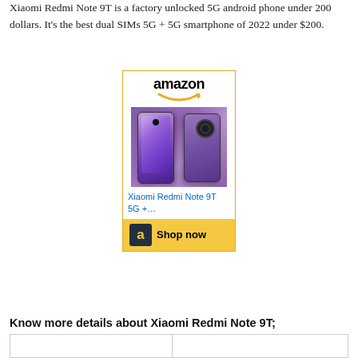Xiaomi Redmi Note 9T is a factory unlocked 5G android phone under 200 dollars. It's the best dual SIMs 5G + 5G smartphone of 2022 under $200.
[Figure (other): Amazon advertisement showing Xiaomi Redmi Note 9T 5G+ product with phone images (front and back in purple), Amazon logo, product title link in blue, and yellow 'Shop now' button with Amazon 'a' icon.]
Know more details about Xiaomi Redmi Note 9T;